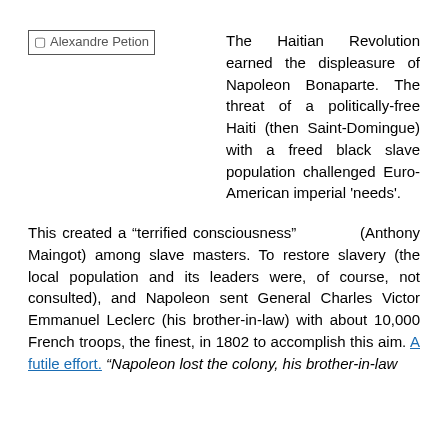[Figure (photo): Placeholder image labeled 'Alexandre Petion']
The Haitian Revolution earned the displeasure of Napoleon Bonaparte. The threat of a politically-free Haiti (then Saint-Domingue) with a freed black slave population challenged Euro-American imperial 'needs'.
This created a “terrified consciousness” (Anthony Maingot) among slave masters. To restore slavery (the local population and its leaders were, of course, not consulted), and Napoleon sent General Charles Victor Emmanuel Leclerc (his brother-in-law) with about 10,000 French troops, the finest, in 1802 to accomplish this aim. A futile effort. “Napoleon lost the colony, his brother-in-law